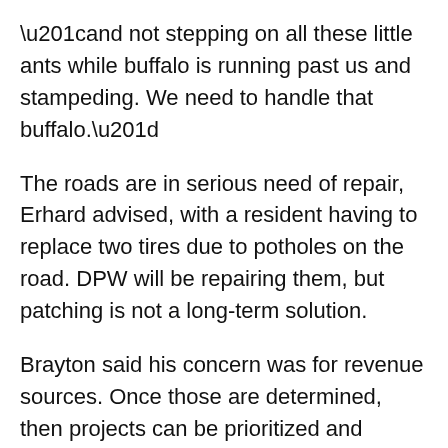“and not stepping on all these little ants while buffalo is running past us and stampeding. We need to handle that buffalo.”
The roads are in serious need of repair, Erhard advised, with a resident having to replace two tires due to potholes on the road. DPW will be repairing them, but patching is not a long-term solution.
Brayton said his concern was for revenue sources. Once those are determined, then projects can be prioritized and begun.
The problems have been growing over the years, Kemerer said, and the costs to fix them were underestimated. Resolving the problems may take years. The county’s economy coincides with construction, which he said runs 7-